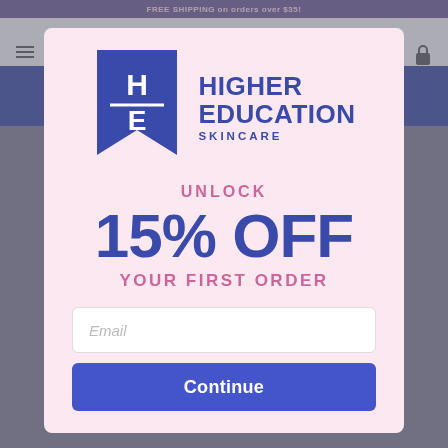FREE SHIPPING on orders over $35!
[Figure (logo): Higher Education Skincare logo: blue bookmark pennant with HE letters, followed by brand name HIGHER EDUCATION SKINCARE in blue]
UNLOCK
15% OFF
YOUR FIRST ORDER
Email
Continue